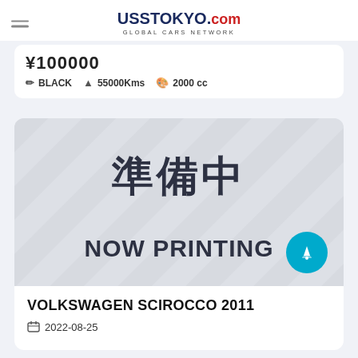USS TOKYO.COM GLOBAL CARS NETWORK
BLACK  55000Kms  2000 cc
[Figure (photo): Car listing placeholder image with diagonal grey stripes, Japanese text '準備中' and 'NOW PRINTING' text, with a cyan rocket-icon button in the bottom right corner.]
VOLKSWAGEN SCIROCCO 2011
2022-08-25